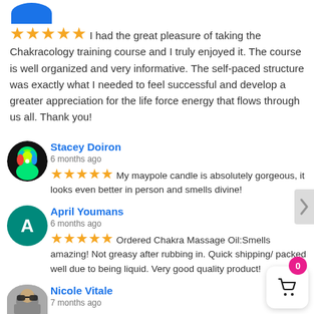I had the great pleasure of taking the Chakracology training course and I truly enjoyed it. The course is well organized and very informative. The self-paced structure was exactly what I needed to feel successful and develop a greater appreciation for the life force energy that flows through us all. Thank you!
Stacey Doiron
6 months ago
My maypole candle is absolutely gorgeous, it looks even better in person and smells divine!
April Youmans
6 months ago
Ordered Chakra Massage Oil:Smells amazing! Not greasy after rubbing in. Quick shipping/ packed well due to being liquid. Very good quality product!
Nicole Vitale
7 months ago